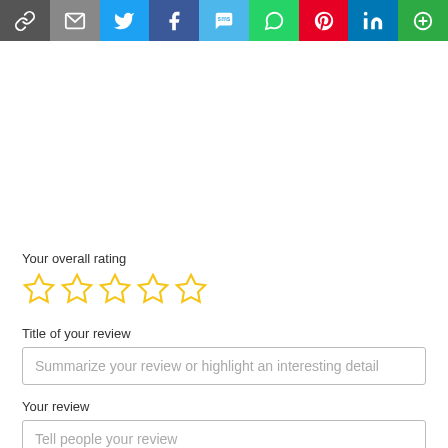[Figure (other): Social share bar with icons: chain link, email, Twitter, Facebook, SMS, WhatsApp, Pinterest, LinkedIn, and more options]
Your overall rating
[Figure (other): Five empty star rating icons in gold/yellow outline]
Title of your review
Summarize your review or highlight an interesting detail
Your review
Tell people your review